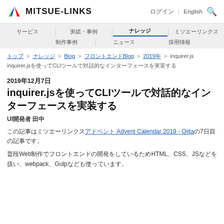MITSUE-LINKS | ログイン | English 🔍
ナビゲーション: サービス | 実績・事例 | ナレッジ | ミツエーリンクス / 制作事例 | ニュース | ブログ | 採用情報
トップ > ナレッジ > Blog > フロントエンドBlog > 2019年 > inquirer.js
inquirer.jsを使ってCLIツールで対話的なインターフェースを実装する
2019年12月7日
inquirer.jsを使ってCLIツールで対話的なインターフェースを実装する
UI開発者 田中
この記事はミツエーリンクスアドベント Advent Calendar 2019 - Qiitaの7日目の記事です。
普段Web制作でフロントエンドの開発をしているためHTML、CSS、JSなどを扱い、webpack、Gulpなども使っています。